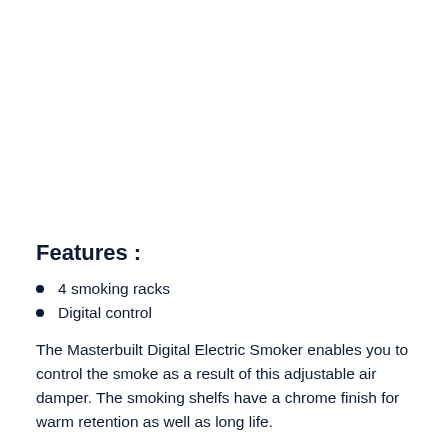Features :
4 smoking racks
Digital control
The Masterbuilt Digital Electric Smoker enables you to control the smoke as a result of this adjustable air damper. The smoking shelfs have a chrome finish for warm retention as well as long life.